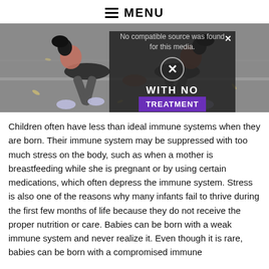≡ MENU
[Figure (photo): Two women doing a partner stretching exercise outdoors on a paved surface, leaning back with hands clasped, photographed from above.]
Children often have less than ideal immune systems when they are born. Their immune system may be suppressed with too much stress on the body, such as when a mother is breastfeeding while she is pregnant or by using certain medications, which often depress the immune system. Stress is also one of the reasons why many infants fail to thrive during the first few months of life because they do not receive the proper nutrition or care. Babies can be born with a weak immune system and never realize it. Even though it is rare, babies can be born with a compromised immune